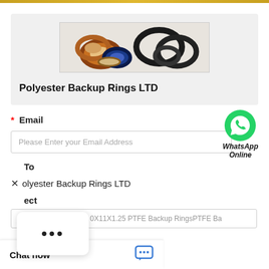[Figure (photo): Product photo showing various seal rings and backup rings in different colors including orange, brown, blue, and black O-ring/seal shapes]
Polyester Backup Rings LTD
* Email
[Figure (logo): WhatsApp green circle logo icon with phone handset]
WhatsApp Online
Please Enter your Email Address
To
× olyester Backup Rings LTD
[Figure (other): White popup box with three dots (ellipsis) indicating loading or more options]
ect
Inquire About PADD P 0X11X1.25 PTFE Backup RingsPTFE Ba
Chat now